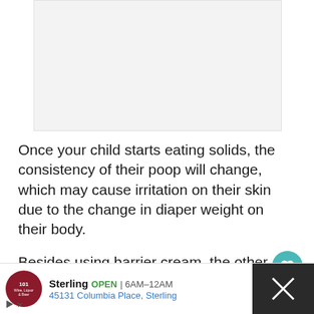[Figure (photo): Light gray placeholder image area at top of page]
Once your child starts eating solids, the consistency of their poop will change, which may cause irritation on their skin due to the change in diaper weight on their body.
Besides using barrier cream, the other things that you can do to help prevent your baby's chances of de...
[Figure (other): Teal heart/favorite button with count of 1, and a share button below]
[Figure (other): Advertisement bar: Sterling Wine Liquor & Beer, OPEN 6AM-12AM, 45131 Columbia Place, Sterling. Dark panel on right with X button.]